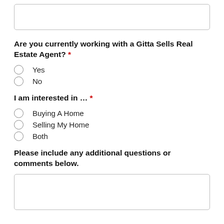[text box at top]
Are you currently working with a Gitta Sells Real Estate Agent? *
Yes
No
I am interested in ... *
Buying A Home
Selling My Home
Both
Please include any additional questions or comments below.
[text box at bottom]